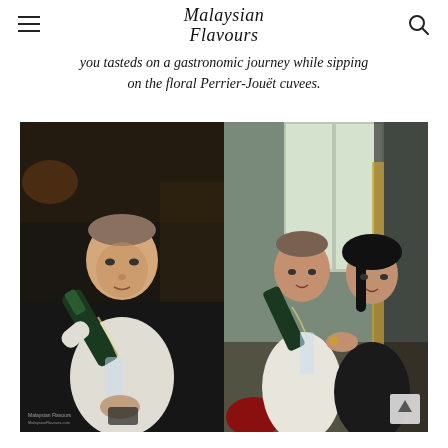Malaysian Flavours
you tasteds on a gastronomic journey while sipping on the floral Perrier-Jouët cuvees.
[Figure (photo): Two side-by-side photos of a man in a white turtleneck pouring champagne. Left photo: man pouring champagne into a flute held by a hand with a cloth, restaurant background. Right photo: same man pouring champagne into a flute held by a smiling woman in a black top, bright window background. Malaysian Flavours watermark visible.]